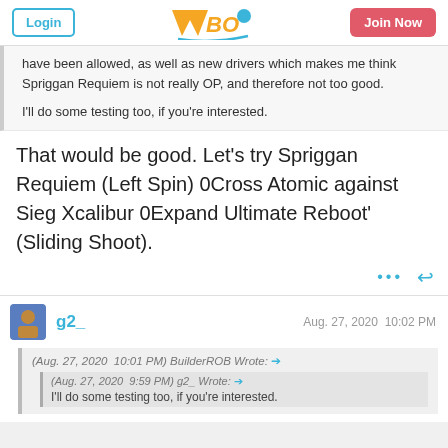Login | WBO | Join Now
have been allowed, as well as new drivers which makes me think Spriggan Requiem is not really OP, and therefore not too good. I'll do some testing too, if you're interested.
That would be good. Let's try Spriggan Requiem (Left Spin) 0Cross Atomic against Sieg Xcalibur 0Expand Ultimate Reboot' (Sliding Shoot).
g2_   Aug. 27, 2020  10:02 PM
(Aug. 27, 2020  10:01 PM) BuilderROB Wrote: →
(Aug. 27, 2020  9:59 PM) g2_ Wrote: → I'll do some testing too, if you're interested.